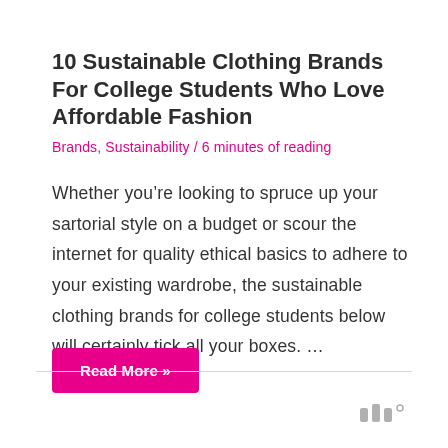10 Sustainable Clothing Brands For College Students Who Love Affordable Fashion
Brands, Sustainability / 6 minutes of reading
Whether you’re looking to spruce up your sartorial style on a budget or scour the internet for quality ethical basics to adhere to your existing wardrobe, the sustainable clothing brands for college students below will certainly tick all your boxes. …
Read More »
[Figure (logo): Small logo mark in grey at bottom right]